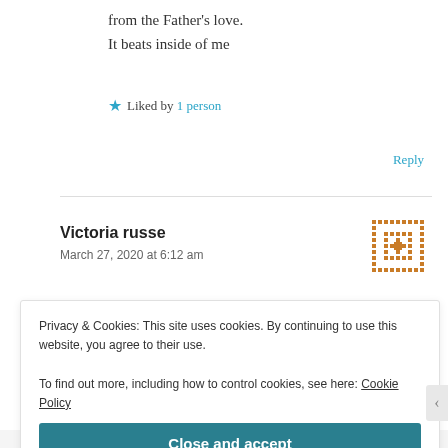from the Father's love.
It beats inside of me
★ Liked by 1 person
Reply
Victoria russe
March 27, 2020 at 6:12 am
[Figure (illustration): Pixelated orange/brown avatar icon for commenter Victoria russe]
Privacy & Cookies: This site uses cookies. By continuing to use this website, you agree to their use.
To find out more, including how to control cookies, see here: Cookie Policy
Close and accept